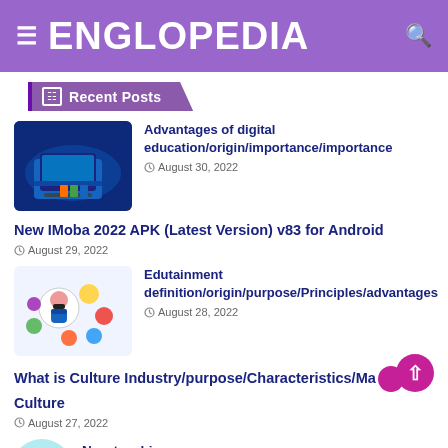ENGLOPEDIA
Recent Posts
Advantages of digital education/origin/importance/importance | August 30, 2022
New IMoba 2022 APK (Latest Version) v83 for Android | August 29, 2022
Edutainment definition/origin/purpose/Principles/advantages | August 28, 2022
What is Culture Industry/purpose/Characteristics/Mass Culture | August 27, 2022
New teaching...